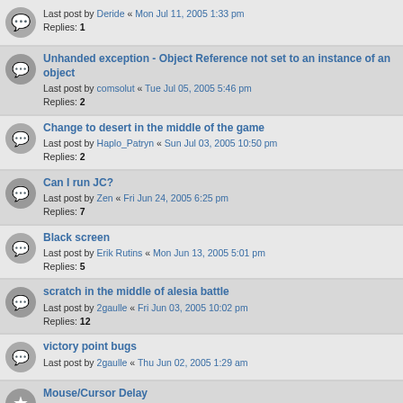Last post by Deride « Mon Jul 11, 2005 1:33 pm
Replies: 1
Unhanded exception - Object Reference not set to an instance of an object
Last post by comsolut « Tue Jul 05, 2005 5:46 pm
Replies: 2
Change to desert in the middle of the game
Last post by Haplo_Patryn « Sun Jul 03, 2005 10:50 pm
Replies: 2
Can I run JC?
Last post by Zen « Fri Jun 24, 2005 6:25 pm
Replies: 7
Black screen
Last post by Erik Rutins « Mon Jun 13, 2005 5:01 pm
Replies: 5
scratch in the middle of alesia battle
Last post by 2gaulle « Fri Jun 03, 2005 10:02 pm
Replies: 12
victory point bugs
Last post by 2gaulle « Thu Jun 02, 2005 1:29 am
Mouse/Cursor Delay
Last post by Erik Rutins « Mon May 30, 2005 3:57 am
Replies: 44
CTD during game play
Last post by rienzi1863 « Sun May 29, 2005 10:25 pm
TS - Julius Caeser: Microsoft.NET Framework 1.1 problem